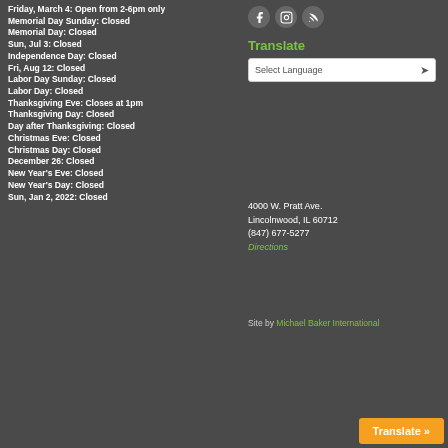Friday, March 4: Open from 2-6pm only
Memorial Day Sunday: Closed
Memorial Day: Closed
Sun, Jul 3: Closed
Independence Day: Closed
Fri, Aug 12: Closed
Labor Day Sunday: Closed
Labor Day: Closed
Thanksgiving Eve: Closes at 1pm
Thanksgiving Day: Closed
Day after Thanksgiving: Closed
Christmas Eve: Closed
Christmas Day: Closed
December 26: Closed
New Year's Eve: Closed
New Year's Day: Closed
Sun, Jan 2, 2022: Closed
[Figure (illustration): Social media icons: Facebook, Instagram, RSS feed]
Translate
Select Language
4000 W. Pratt Ave. Lincolnwood, IL 60712 (847) 677-5277 Directions
Site by Michael Baker International
Translate »